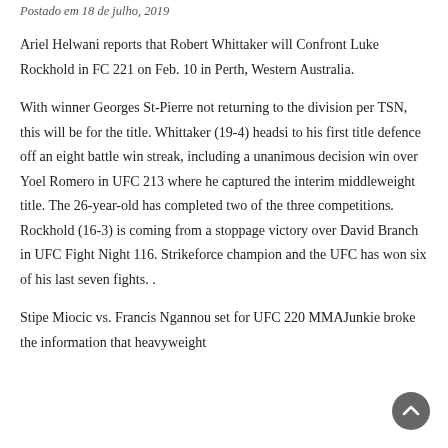Postado em 18 de julho, 2019
Ariel Helwani reports that Robert Whittaker will Confront Luke Rockhold in FC 221 on Feb. 10 in Perth, Western Australia.
With winner Georges St-Pierre not returning to the division per TSN, this will be for the title. Whittaker (19-4) headsi to his first title defence off an eight battle win streak, including a unanimous decision win over Yoel Romero in UFC 213 where he captured the interim middleweight title. The 26-year-old has completed two of the three competitions. Rockhold (16-3) is coming from a stoppage victory over David Branch in UFC Fight Night 116. Strikeforce champion and the UFC has won six of his last seven fights. .
Stipe Miocic vs. Francis Ngannou set for UFC 220 MMAJunkie broke the information that heavyweight